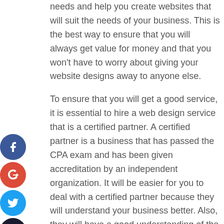needs and help you create websites that will suit the needs of your business. This is the best way to ensure that you will always get value for money and that you won't have to worry about giving your website designs away to anyone else.
To ensure that you will get a good service, it is essential to hire a web design service that is a certified partner. A certified partner is a business that has passed the CPA exam and has been given accreditation by an independent organization. It will be easier for you to deal with a certified partner because they will understand your business better. Also, they will have a good understanding of the challenges of your business. With their help, you can be sure that the web design services you are getting will be made from the best resources and the most creative ideas.
Another thing you can look for in web design services is the design team that will be working on your website. If